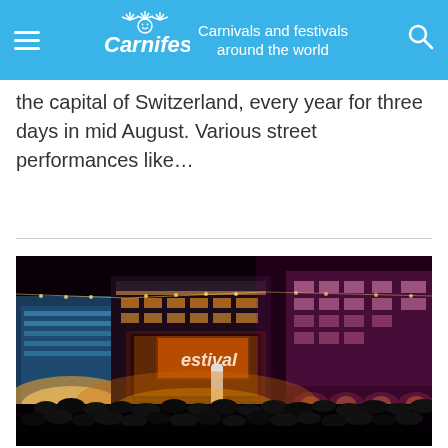Carnifest — Carnivals and festivals around the world
the capital of Switzerland, every year for three days in mid August. Various street performances like…
[Figure (photo): Night-time festival photo showing illuminated stage with 'estival' sign and crowd in a European city square with ornate buildings lit in warm orange and purple tones]